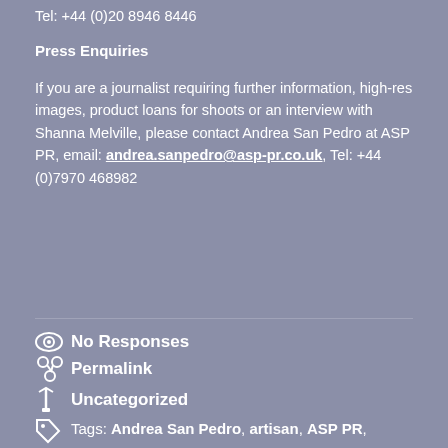Tel: +44 (0)20 8946 8446
Press Enquiries
If you are a journalist requiring further information, high-res images, product loans for shoots or an interview with Shanna Melville, please contact Andrea San Pedro at ASP PR, email: andrea.sanpedro@asp-pr.co.uk, Tel: +44 (0)7970 468982
No Responses
Permalink
Uncategorized
Tags: Andrea San Pedro, artisan, ASP PR,